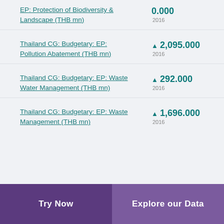EP: Protection of Biodiversity & Landscape (THB mn)
Thailand CG: Budgetary: EP: Pollution Abatement (THB mn)
Thailand CG: Budgetary: EP: Waste Water Management (THB mn)
Thailand CG: Budgetary: EP: Waste Management (THB mn)
Try Now | Explore our Data